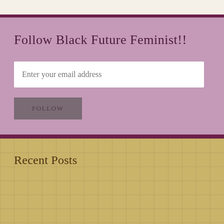Follow Black Future Feminist!!
Enter your email address
FOLLOW
Recent Posts